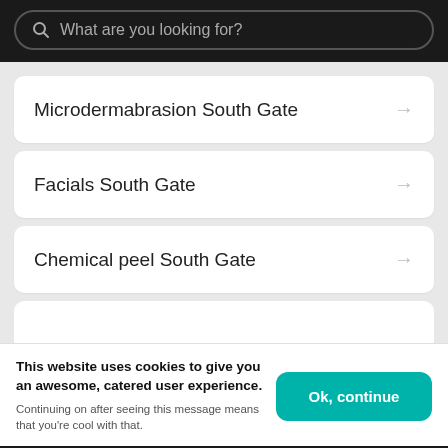[Figure (screenshot): Search bar with placeholder 'What are you looking for?' on dark background]
Microdermabrasion South Gate →
Facials South Gate →
Chemical peel South Gate →
This website uses cookies to give you an awesome, catered user experience. Continuing on after seeing this message means that you're cool with that.
Ok, continue
Your Booksy   Explore   Appointments   Profile